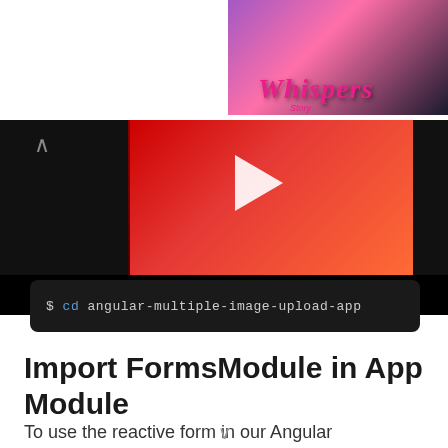[Figure (screenshot): Screenshot of a mobile app storefront showing a romantic visual novel game called 'Whispers' with colorful artwork including characters in a romantic setting]
[Figure (screenshot): Video player with red/gradient background showing a play button, with a terminal code block below showing: $ cd angular-multiple-image-upload-app]
Import FormsModule in App Module
To use the reactive form in our Angular